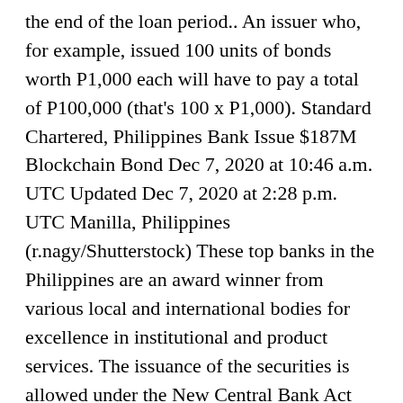the end of the loan period.. An issuer who, for example, issued 100 units of bonds worth P1,000 each will have to pay a total of P100,000 (that's 100 x P1,000). Standard Chartered, Philippines Bank Issue $187M Blockchain Bond Dec 7, 2020 at 10:46 a.m. UTC Updated Dec 7, 2020 at 2:28 p.m. UTC Manilla, Philippines (r.nagy/Shutterstock) These top banks in the Philippines are an award winner from various local and international bodies for excellence in institutional and product services. The issuance of the securities is allowed under the New Central Bank Act that was signed in February 2019. Unlike stocks, bonds often tend to be bought and sold in a closed world of experienced insiders and experts. The addition